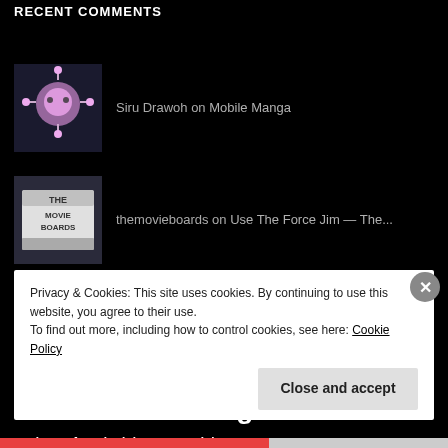RECENT COMMENTS
Siru Drawoh on Mobile Manga
themovieboards on Use The Force Jim — The...
mk111 on Disney XD Replaces Toon Disney...
advertisement Advertising Aeronna Amazon anime Apple bittorrent blog blogging books Chumby
Privacy & Cookies: This site uses cookies. By continuing to use this website, you agree to their use.
To find out more, including how to control cookies, see here: Cookie Policy
Close and accept